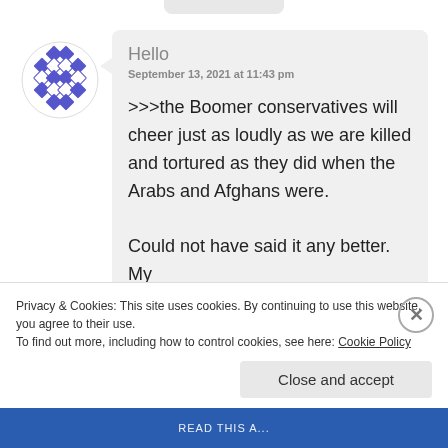[Figure (screenshot): User avatar with blue checkered diamond pattern icon]
Hello
September 13, 2021 at 11:43 pm
>>>the Boomer conservatives will cheer just as loudly as we are killed and tortured as they did when the Arabs and Afghans were.

Could not have said it any better. My
Privacy & Cookies: This site uses cookies. By continuing to use this website, you agree to their use.
To find out more, including how to control cookies, see here: Cookie Policy
Close and accept